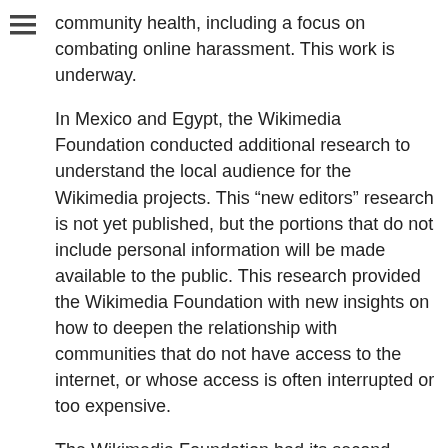community health, including a focus on combating online harassment. This work is underway.
In Mexico and Egypt, the Wikimedia Foundation conducted additional research to understand the local audience for the Wikimedia projects. This “new editors” research is not yet published, but the portions that do not include personal information will be made available to the public. This research provided the Wikimedia Foundation with new insights on how to deepen the relationship with communities that do not have access to the internet, or whose access is often interrupted or too expensive.
The Wikimedia Foundation had its second successful year solving problems on the community wish list, addressing areas that were identified as a priority for the Wikimedia community. The Community Tech team has begun experimenting with other forms of community-based collaboration. As one example, a team responded to English Wikipedia discussions around ACTRIAL. The engagement in this discussion is a model for community-based development.